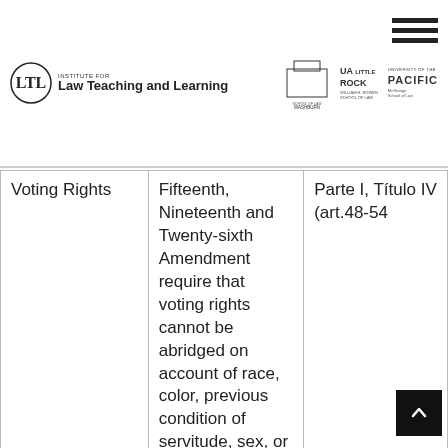Institute for Law Teaching and Learning | Washburn School of Law | UA Little Rock William H. Bowen School of Law | University of the Pacific McGeorge School of Law
| Topic | US Constitutional Provision | Mexican Constitutional Provision |
| --- | --- | --- |
| Voting Rights | Fifteenth, Nineteenth and Twenty-sixth Amendment require that voting rights cannot be abridged on account of race, color, previous condition of servitude, sex, or age for those | Parte I, Titulo IV (art.48-54 |